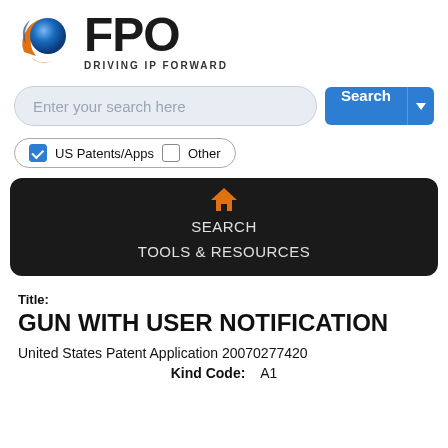[Figure (logo): FPO logo with circular blue/orange icon and text 'FPO DRIVING IP FORWARD']
[Figure (screenshot): Search bar with placeholder 'Enter your search here' and a blue Search button with dropdown arrow]
[Figure (screenshot): Checkbox options: checked 'US Patents/Apps' and unchecked 'Other' in a pill border]
[Figure (screenshot): Black rounded navigation bar with orange home icon, SEARCH and TOOLS & RESOURCES links]
Title:
GUN WITH USER NOTIFICATION
United States Patent Application 20070277420
Kind Code:   A1